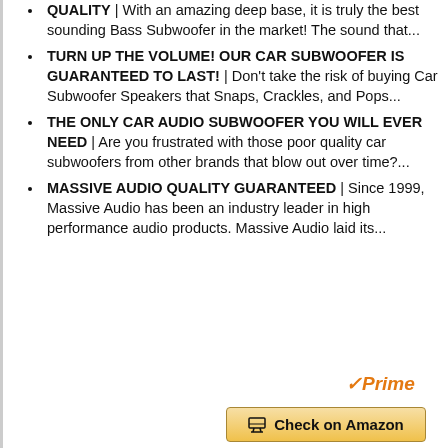QUALITY | With an amazing deep base, it is truly the best sounding Bass Subwoofer in the market! The sound that...
TURN UP THE VOLUME! OUR CAR SUBWOOFER IS GUARANTEED TO LAST! | Don't take the risk of buying Car Subwoofer Speakers that Snaps, Crackles, and Pops...
THE ONLY CAR AUDIO SUBWOOFER YOU WILL EVER NEED | Are you frustrated with those poor quality car subwoofers from other brands that blow out over time?...
MASSIVE AUDIO QUALITY GUARANTEED | Since 1999, Massive Audio has been an industry leader in high performance audio products. Massive Audio laid its...
[Figure (logo): Amazon Prime logo with checkmark]
Check on Amazon